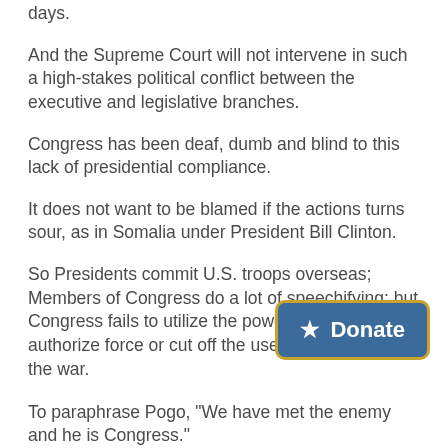days.
And the Supreme Court will not intervene in such a high-stakes political conflict between the executive and legislative branches.
Congress has been deaf, dumb and blind to this lack of presidential compliance.
It does not want to be blamed if the actions turns sour, as in Somalia under President Bill Clinton.
So Presidents commit U.S. troops overseas; Members of Congress do a lot of speechifying; but Congress fails to utilize the power it has either to authorize force or cut off the use of t… continue the war.
[Figure (other): Donate button with star icon, blue background and yellow border]
To paraphrase Pogo, "We have met the enemy and he is Congress."